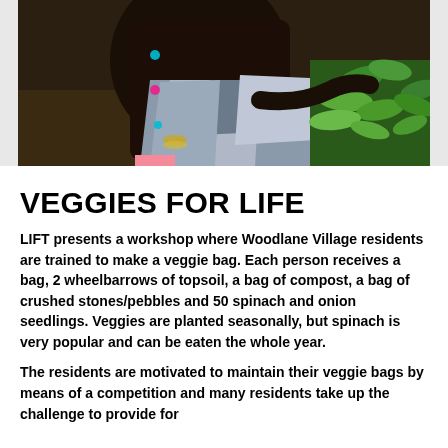[Figure (photo): A person kneeling near green vegetable seedlings growing in soil, wearing a patterned skirt with geometric gray/white shapes.]
VEGGIES FOR LIFE
LIFT presents a workshop where Woodlane Village residents are trained to make a veggie bag. Each person receives a bag, 2 wheelbarrows of topsoil, a bag of compost, a bag of crushed stones/pebbles and 50 spinach and onion seedlings. Veggies are planted seasonally, but spinach is very popular and can be eaten the whole year.
The residents are motivated to maintain their veggie bags by means of a competition and many residents take up the challenge to provide for